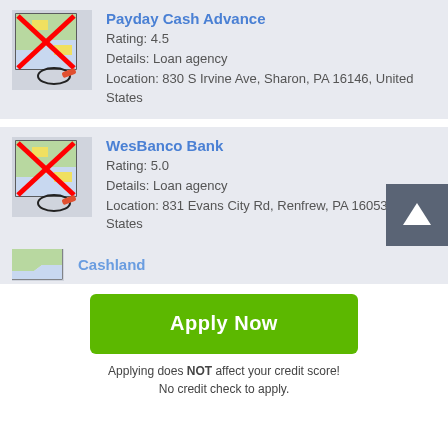[Figure (illustration): Map icon with red X cross overlay and red pin marker with oval, representing a blocked location]
Payday Cash Advance
Rating: 4.5
Details: Loan agency
Location: 830 S Irvine Ave, Sharon, PA 16146, United States
[Figure (illustration): Map icon with red X cross overlay and red pin marker with oval, representing a blocked location]
WesBanco Bank
Rating: 5.0
Details: Loan agency
Location: 831 Evans City Rd, Renfrew, PA 16053, United States
[Figure (illustration): Partially visible map icon]
Cashland
Apply Now
Applying does NOT affect your credit score!
No credit check to apply.